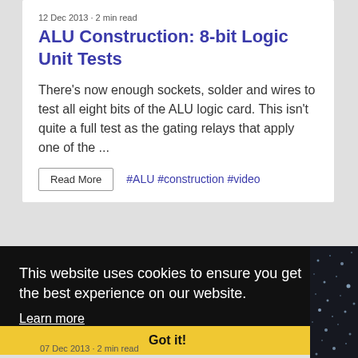12 Dec 2013 · 2 min read
ALU Construction: 8-bit Logic Unit Tests
There's now enough sockets, solder and wires to test all eight bits of the ALU logic card. This isn't quite a full test as the gating relays that apply one of the ...
Read More   #ALU #construction #video
This website uses cookies to ensure you get the best experience on our website.
Learn more
Got it!
07 Dec 2013 · 2 min read
[Figure (photo): Dark background photo with scattered light-colored dots, likely a circuit board or night sky texture]